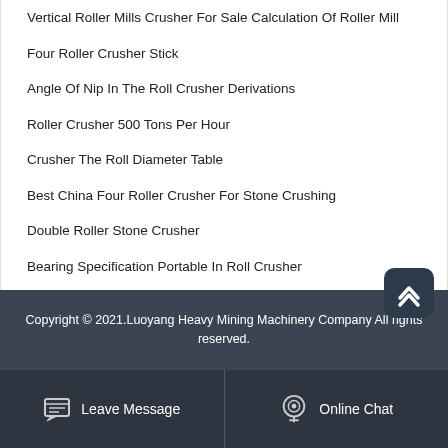Vertical Roller Mills Crusher For Sale Calculation Of Roller Mill
Four Roller Crusher Stick
Angle Of Nip In The Roll Crusher Derivations
Roller Crusher 500 Tons Per Hour
Crusher The Roll Diameter Table
Best China Four Roller Crusher For Stone Crushing
Double Roller Stone Crusher
Bearing Specification Portable In Roll Crusher
Copyright © 2021.Luoyang Heavy Mining Machinery Company All rights reserved.
Leave Message  Online Chat